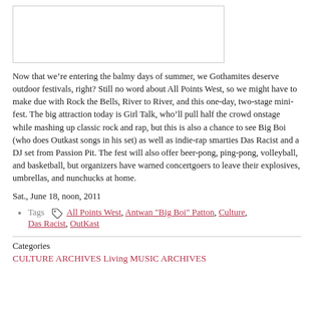[Figure (other): Blank image placeholder with border]
Now that we’re entering the balmy days of summer, we Gothamites deserve outdoor festivals, right? Still no word about All Points West, so we might have to make due with Rock the Bells, River to River, and this one-day, two-stage mini-fest. The big attraction today is Girl Talk, who’ll pull half the crowd onstage while mashing up classic rock and rap, but this is also a chance to see Big Boi (who does Outkast songs in his set) as well as indie-rap smarties Das Racist and a DJ set from Passion Pit. The fest will also offer beer-pong, ping-pong, volleyball, and basketball, but organizers have warned concertgoers to leave their explosives, umbrellas, and nunchucks at home.
Sat., June 18, noon, 2011
Tags  All Points West, Antwan "Big Boi" Patton, Culture, Das Racist, OutKast
Categories
CULTURE ARCHIVES  Living  MUSIC ARCHIVES